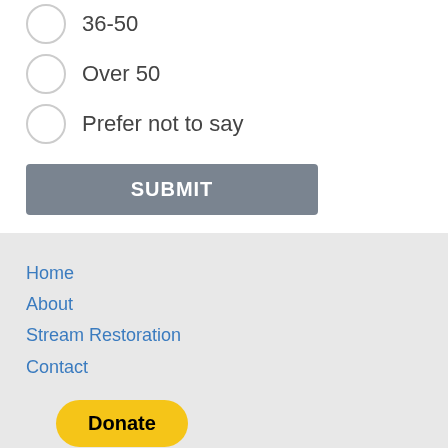36-50
Over 50
Prefer not to say
SUBMIT
Home
About
Stream Restoration
Contact
[Figure (other): Donate button with PayPal styling and payment card icons (Visa, Mastercard, Maestro, American Express, Discover, UnionPay)]